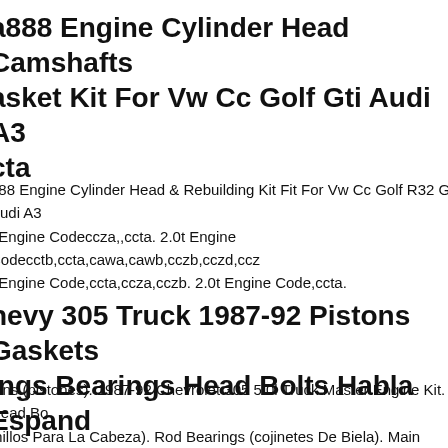a888 Engine Cylinder Head Camshafts asket Kit For Vw Cc Golf Gti Audi A3 cta
888 Engine Cylinder Head & Rebuilding Kit Fit For Vw Cc Golf R32 Gti Audi A3 t Engine Codeccza,,ccta. 2.0t Engine Codecctb,ccta,cawa,cawb,cczb,cczd,ccz t Engine Code,ccta,ccza,cczb. 2.0t Engine Code,ccta.
hevy 305 Truck 1987-92 Pistons Gaskets ings Bearings Head Bolts Habla Espand
tons (pistones). 1987-92 Chevrolet 305 5.0l Truck Master Engine Kit. Head Bo millos Para La Cabeza). Rod Bearings (cojinetes De Biela). Main Bearings inetes De Ciguenal). Cam Bearings (cojinetes De Arbol De Leva).